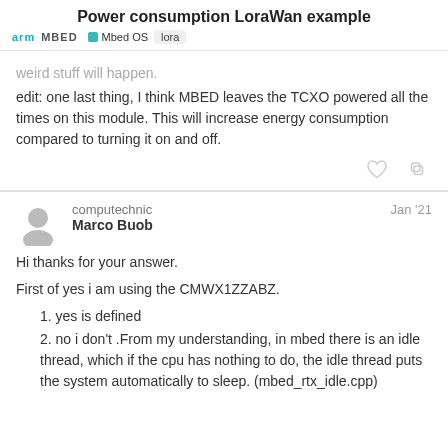Power consumption LoraWan example
arm MBED  Mbed OS  lora
weird stuff will happen.
edit: one last thing, I think MBED leaves the TCXO powered all the times on this module. This will increase energy consumption compared to turning it on and off.
computechnic
Marco Buob
Jan '21
Hi thanks for your answer.
First of yes i am using the CMWX1ZZABZ.
yes is defined
no i don't .From my understanding, in mbed there is an idle thread, which if the cpu has nothing to do, the idle thread puts the system automatically to sleep. (mbed_rtx_idle.cpp)